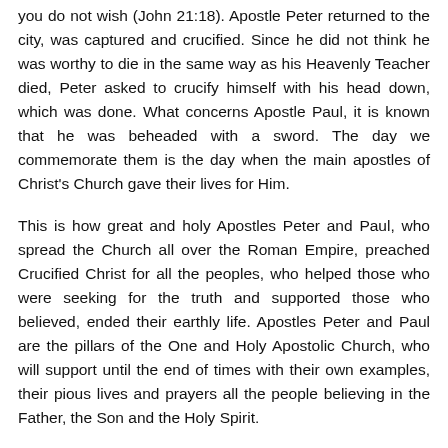you do not wish (John 21:18). Apostle Peter returned to the city, was captured and crucified. Since he did not think he was worthy to die in the same way as his Heavenly Teacher died, Peter asked to crucify himself with his head down, which was done. What concerns Apostle Paul, it is known that he was beheaded with a sword. The day we commemorate them is the day when the main apostles of Christ's Church gave their lives for Him.
This is how great and holy Apostles Peter and Paul, who spread the Church all over the Roman Empire, preached Crucified Christ for all the peoples, who helped those who were seeking for the truth and supported those who believed, ended their earthly life. Apostles Peter and Paul are the pillars of the One and Holy Apostolic Church, who will support until the end of times with their own examples, their pious lives and prayers all the people believing in the Father, the Son and the Holy Spirit.